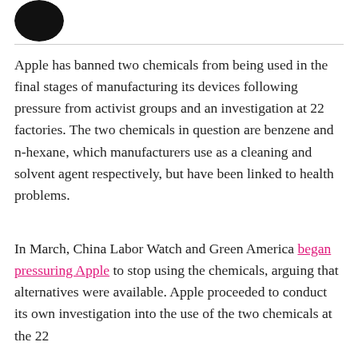[Figure (logo): Partially visible black circular logo (Apple logo) in top-left corner]
Apple has banned two chemicals from being used in the final stages of manufacturing its devices following pressure from activist groups and an investigation at 22 factories. The two chemicals in question are benzene and n-hexane, which manufacturers use as a cleaning and solvent agent respectively, but have been linked to health problems.
In March, China Labor Watch and Green America began pressuring Apple to stop using the chemicals, arguing that alternatives were available. Apple proceeded to conduct its own investigation into the use of the two chemicals at the 22